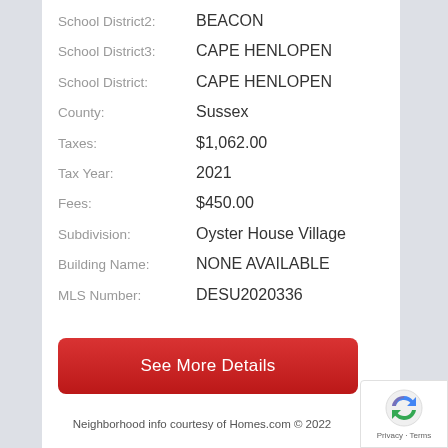School District2: BEACON
School District3: CAPE HENLOPEN
School District: CAPE HENLOPEN
County: Sussex
Taxes: $1,062.00
Tax Year: 2021
Fees: $450.00
Subdivision: Oyster House Village
Building Name: NONE AVAILABLE
MLS Number: DESU2020336
See More Details
Neighborhood info courtesy of Homes.com © 2022